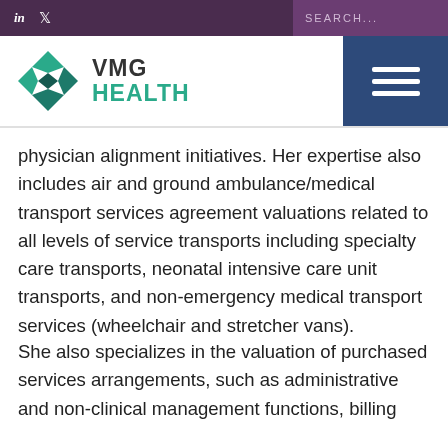VMG HEALTH
physician alignment initiatives. Her expertise also includes air and ground ambulance/medical transport services agreement valuations related to all levels of service transports including specialty care transports, neonatal intensive care unit transports, and non-emergency medical transport services (wheelchair and stretcher vans).
She also specializes in the valuation of purchased services arrangements, such as administrative and non-clinical management functions, billing